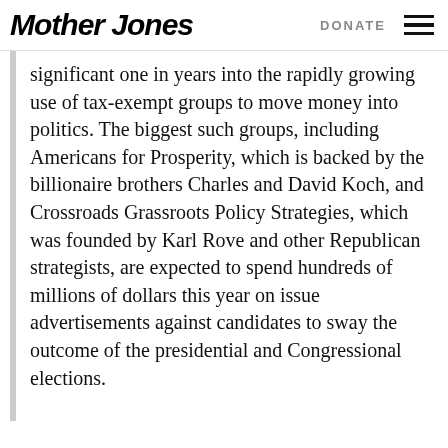Mother Jones   DONATE
significant one in years into the rapidly growing use of tax-exempt groups to move money into politics. The biggest such groups, including Americans for Prosperity, which is backed by the billionaire brothers Charles and David Koch, and Crossroads Grassroots Policy Strategies, which was founded by Karl Rove and other Republican strategists, are expected to spend hundreds of millions of dollars this year on issue advertisements against candidates to sway the outcome of the presidential and Congressional elections.